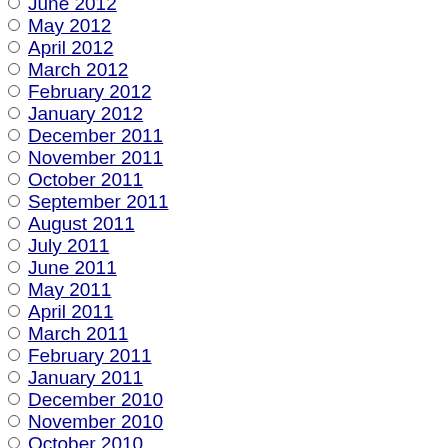June 2012
May 2012
April 2012
March 2012
February 2012
January 2012
December 2011
November 2011
October 2011
September 2011
August 2011
July 2011
June 2011
May 2011
April 2011
March 2011
February 2011
January 2011
December 2010
November 2010
October 2010
September 2010
August 2010
July 2010
June 2010
May 2010